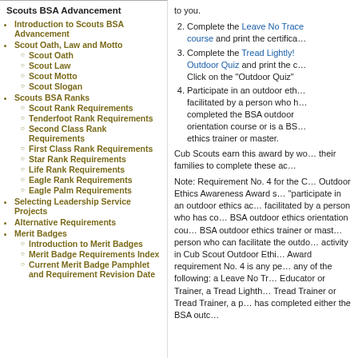Scouts BSA Advancement
Introduction to Scouts BSA Advancement
Scout Oath, Law and Motto
Scout Oath
Scout Law
Scout Motto
Scout Slogan
Scouts BSA Ranks
Scout Rank Requirements
Tenderfoot Rank Requirements
Second Class Rank Requirements
First Class Rank Requirements
Star Rank Requirements
Life Rank Requirements
Eagle Rank Requirements
Eagle Palm Requirements
Selecting Leadership Service Projects
Alternative Requirements
Merit Badges
Introduction to Merit Badges
Merit Badge Requirements Index
Current Merit Badge Pamphlet and Requirement Revision Date
to you.
2. Complete the Leave No Trace course and print the certifica...
3. Complete the Tread Lightly! Outdoor Quiz and print the c... Click on the "Outdoor Quiz"
4. Participate in an outdoor eth... facilitated by a person who h... completed the BSA outdoor orientation course or is a BS... ethics trainer or master.
Cub Scouts earn this award by wo... their families to complete these ac...
Note: Requirement No. 4 for the C... Outdoor Ethics Awareness Award s... "participate in an outdoor ethics ac... facilitated by a person who has co... BSA outdoor ethics orientation cou... BSA outdoor ethics trainer or mast... person who can facilitate the outdo... activity in Cub Scout Outdoor Ethi... Award requirement No. 4 is any pe... any of the following: a Leave No Tr... Educator or Trainer, a Tread Lighth... Tread Trainer or Tread Trainer, a p... has completed either the BSA outc...